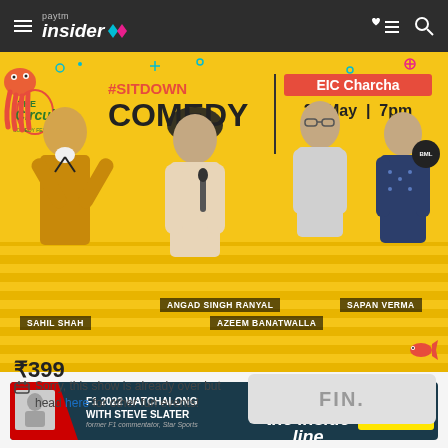Paytm Insider
[Figure (photo): The Circuit Comedy Festival banner featuring #SitDown Comedy show with EIC Charcha on 27 May at 7pm. Performers shown: Sahil Shah, Angad Singh Ranyal, Azeem Banatwalla, Sapan Verma. Yellow background with four comedians posing.]
[Figure (photo): F1 2022 Watchalong with Steve Slater - The Inside Line banner. Register Now button in yellow.]
₹399
Sorry, this show is already over but head here for other fun events!
FIN.